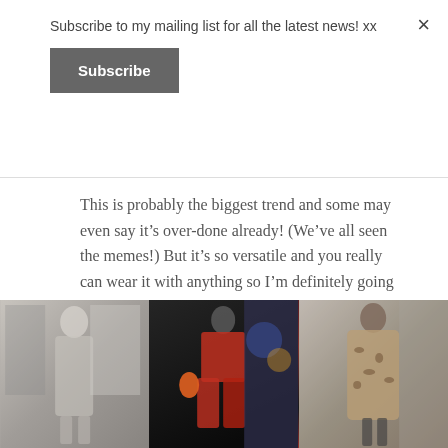Subscribe to my mailing list for all the latest news! xx
Subscribe
This is probably the biggest trend and some may even say it’s over-done already! (We’ve all seen the memes!) But it’s so versatile and you really can wear it with anything so I’m definitely going to be purchasing a few new bits in leopard and zebra print!
[Figure (photo): Fashion runway photo showing model in animal print dress]
[Figure (photo): Fashion runway photo showing model in red and black outfit with fur]
[Figure (photo): Street style photo showing model in leopard print coat]